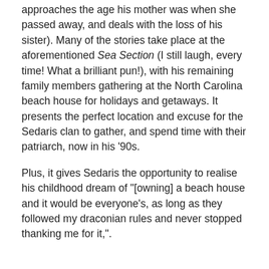approaches the age his mother was when she passed away, and deals with the loss of his sister). Many of the stories take place at the aforementioned Sea Section (I still laugh, every time! What a brilliant pun!), with his remaining family members gathering at the North Carolina beach house for holidays and getaways. It presents the perfect location and excuse for the Sedaris clan to gather, and spend time with their patriarch, now in his '90s.
Plus, it gives Sedaris the opportunity to realise his childhood dream of "[owning] a beach house and it would be everyone's, as long as they followed my draconian rules and never stopped thanking me for it,".